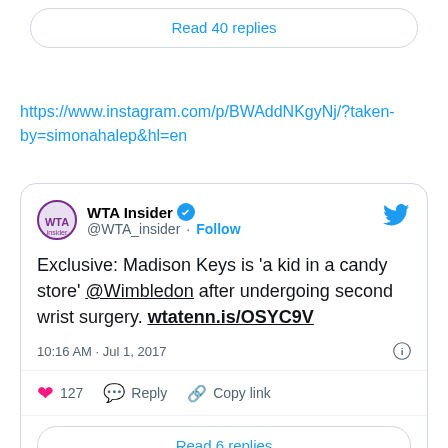Read 40 replies
https://www.instagram.com/p/BWAddNKgyNj/?taken-by=simonahalep&hl=en
[Figure (screenshot): Embedded tweet from WTA Insider (@WTA_insider) with verified badge and Follow button. Tweet text: Exclusive: Madison Keys is 'a kid in a candy store' @Wimbledon after undergoing second wrist surgery. wtatenn.is/OSYC9V. Timestamp: 10:16 AM · Jul 1, 2017. Likes: 127. Actions: Reply, Copy link. Read 6 replies button at bottom.]